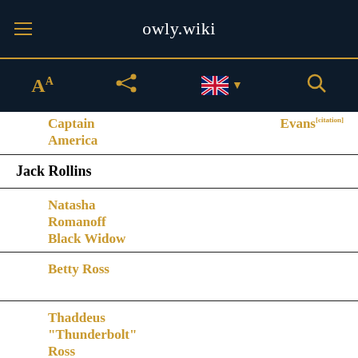owly.wiki
[Figure (screenshot): Toolbar with font size icon, share icon, UK flag with dropdown, and search icon on dark navy background]
| Captain America | Evans[citation] |
| Jack Rollins |  |
| Natasha Romanoff / Black Widow |  |
| Betty Ross |  |
| Thaddeus "Thunderbolt" Ross |  |